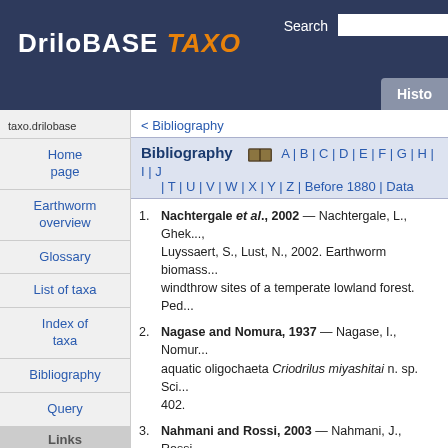DriloBASE TAXO — Search — Histo
taxo.drilobase
Home page
Earthworm overview
Glossary
List of taxa
Index of taxa
Bibliography
Query
Links
< Bibliography
Bibliography  A | B | C | D | E | F | G | H | I | J … | T | U | V | W | X | Y | Z | Before 1880 | Data
Nachtergale et al., 2002 — Nachtergale, L., Ghek..., Luyssaert, S., Lust, N., 2002. Earthworm biomass... windthrow sites of a temperate lowland forest. Ped...
Nagase and Nomura, 1937 — Nagase, I., Nomur... aquatic oligochaeta Criodrilus miyashitai n. sp. Sci... 402.
Nahmani and Rossi, 2003 — Nahmani, J., Rossi... macroinvertebrates as indicators of pollution by he... Biologies, 326(3): 295-303.
Nahmani et al., 2003 — Nahmani, J.Y., Lavelle, P... Effects of heavy metal soil pollution on earthworm... Franco. Pedobiologia, 47: 663-669.